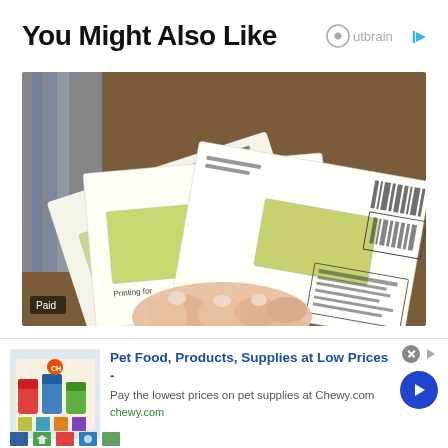You Might Also Like
[Figure (logo): Outbrain logo with circular icon and play button arrow]
[Figure (photo): A hand holding multiple envelopes (mail/checks) fanned out on a table with fabric/clothing in background. A 'Paid' badge appears in the bottom-left corner.]
[Figure (photo): Chewy.com ad thumbnail showing pet food products]
Pet Food, Products, Supplies at Low Prices -
Pay the lowest prices on pet supplies at Chewy.com
chewy.com